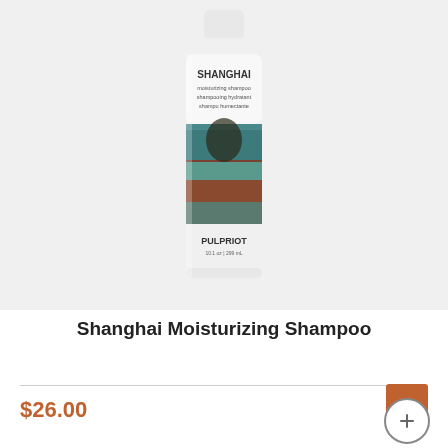[Figure (photo): A tall cylindrical shampoo bottle with a white cap and bottom. The label reads 'SHANGHAI moisturizing shampoo / shampooing hydratant / shampu humectante' at the top in white, and 'PULPRIOT' at the bottom. The middle section features a collage-style image of a person with teal/rust/brown tones.]
Shanghai Moisturizing Shampoo
$26.00